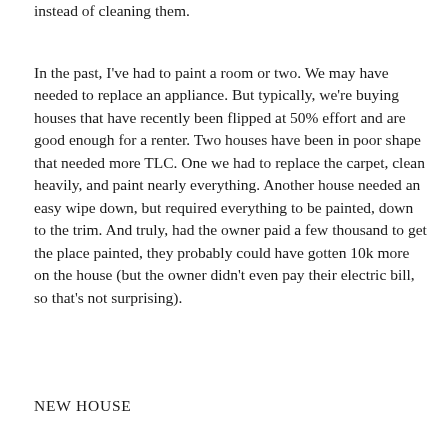instead of cleaning them.
In the past, I've had to paint a room or two. We may have needed to replace an appliance. But typically, we're buying houses that have recently been flipped at 50% effort and are good enough for a renter. Two houses have been in poor shape that needed more TLC. One we had to replace the carpet, clean heavily, and paint nearly everything. Another house needed an easy wipe down, but required everything to be painted, down to the trim. And truly, had the owner paid a few thousand to get the place painted, they probably could have gotten 10k more on the house (but the owner didn't even pay their electric bill, so that's not surprising).
NEW HOUSE